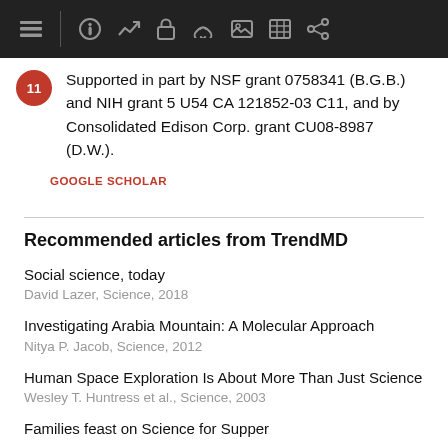[toolbar with navigation icons]
Supported in part by NSF grant 0758341 (B.G.B.) and NIH grant 5 U54 CA 121852-03 C11, and by Consolidated Edison Corp. grant CU08-8987 (D.W.).
GOOGLE SCHOLAR
Recommended articles from TrendMD
Social science, today
David Lazer, Science, 2018
Investigating Arabia Mountain: A Molecular Approach
Nitya P. Jacob, Science, 2012
Human Space Exploration Is About More Than Just Science
Wesley T. Huntress et al., Science, 2003
Families feast on Science for Supper